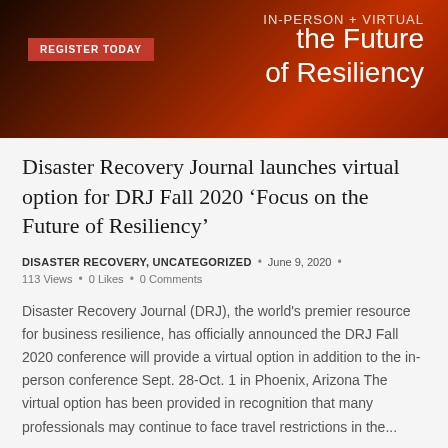[Figure (illustration): Dark orange/red banner advertisement for DRJ Fall 2020 conference with text 'IN-PERSON + VIRTUAL', 'REGISTER TODAY' button, and 'the Future of Resiliency' headline]
Disaster Recovery Journal launches virtual option for DRJ Fall 2020 ‘Focus on the Future of Resiliency’
DISASTER RECOVERY, UNCATEGORIZED • June 9, 2020 • 113 Views • 0 Likes • 0 Comments
Disaster Recovery Journal (DRJ), the world's premier resource for business resilience, has officially announced the DRJ Fall 2020 conference will provide a virtual option in addition to the in-person conference Sept. 28-Oct. 1 in Phoenix, Arizona The virtual option has been provided in recognition that many professionals may continue to face travel restrictions in the...
→